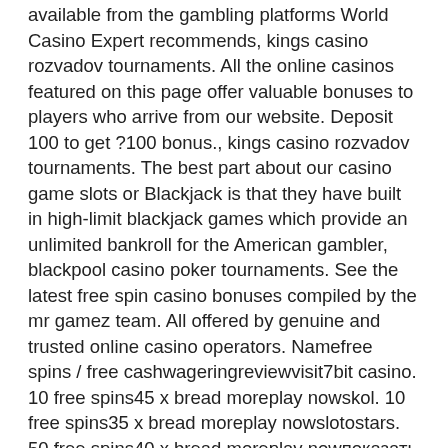available from the gambling platforms World Casino Expert recommends, kings casino rozvadov tournaments. All the online casinos featured on this page offer valuable bonuses to players who arrive from our website. Deposit 100 to get ?100 bonus., kings casino rozvadov tournaments. The best part about our casino game slots or Blackjack is that they have built in high-limit blackjack games which provide an unlimited bankroll for the American gambler, blackpool casino poker tournaments. See the latest free spin casino bonuses compiled by the mr gamez team. All offered by genuine and trusted online casino operators. Namefree spins / free cashwageringreviewvisit7bit casino. 10 free spins45 x bread moreplay nowskol. 10 free spins35 x bread moreplay nowslotostars. 50 free spins40 x bread moreplay nowпоказать ещё 100 строк. The free spin promotion ( no deposit bonus ) is launched, when new games come out on the market, with betsafe